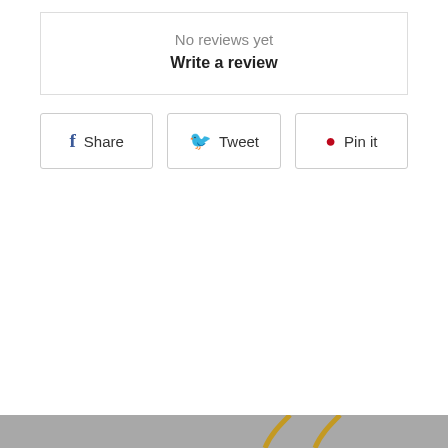No reviews yet
Write a review
Share
Tweet
Pin it
[Figure (photo): Close-up photograph of a gold chain necklace with a diamond-shaped pendant featuring green gemstone accents at the top and a halo of small clear crystals around a colorful center stone, displayed on a gray background.]